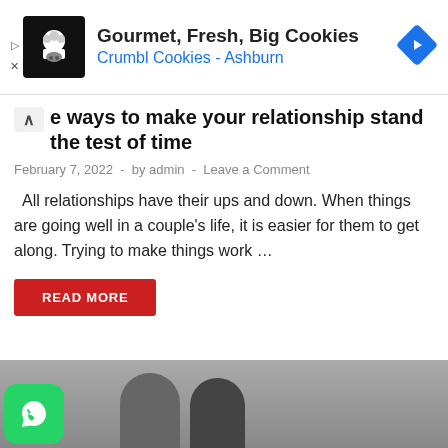[Figure (screenshot): Advertisement banner for Crumbl Cookies - Ashburn with black logo, bold title 'Gourmet, Fresh, Big Cookies', blue subtitle 'Crumbl Cookies - Ashburn', and a blue diamond navigation icon on the right]
e ways to make your relationship stand the test of time
February 7, 2022 - by admin - Leave a Comment
All relationships have their ups and down. When things are going well in a couple’s life, it is easier for them to get along. Trying to make things work …
READ MORE
[Figure (photo): Bottom portion showing a WhatsApp icon (green rounded square) overlaid on a photo of a couple]